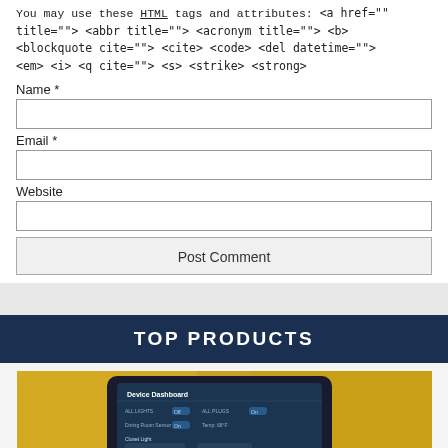You may use these HTML tags and attributes: <a href=" title=""> <abbr title=""> <acronym title=""> <b> <blockquote cite=""> <cite> <code> <del datetime=""> <em> <i> <q cite=""> <s> <strike> <strong>
Name *
Email *
Website
Post Comment
TOP PRODUCTS
[Figure (photo): Person holding a tablet displaying a smart home device dashboard UI, with yellow clothing visible in background]